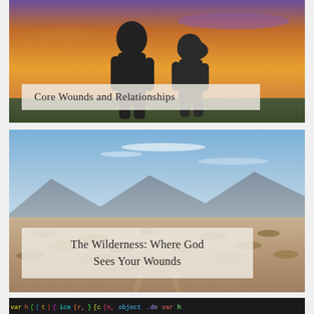[Figure (photo): Two silhouettes of people standing apart against a sunset sky with orange and purple hues. A semi-transparent white label box overlays the lower portion with book title text.]
Core Wounds and Relationships
[Figure (photo): Desert wilderness landscape with dry scrubland, distant mountains, and a blue sky with thin clouds. A semi-transparent white label box overlays the lower portion with book title text.]
The Wilderness: Where God Sees Your Wounds
[Figure (screenshot): Colorful code/programming text on dark background, partially visible at the bottom of the page.]